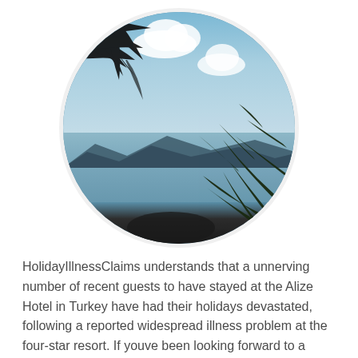[Figure (photo): Circular-cropped photo of a tropical beach scene viewed through palm trees, showing a calm sea, distant mountains, and a partly cloudy blue sky.]
HolidayIllnessClaims understands that a unnerving number of recent guests to have stayed at the Alize Hotel in Turkey have had their holidays devastated, following a reported widespread illness problem at the four-star resort. If youve been looking forward to a